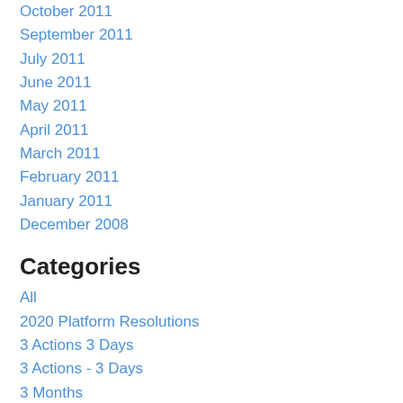October 2011
September 2011
July 2011
June 2011
May 2011
April 2011
March 2011
February 2011
January 2011
December 2008
Categories
All
2020 Platform Resolutions
3 Actions 3 Days
3 Actions - 3 Days
3 Months
3 Weeks
Abortion
Abortion Is Health Care
Absentee Voting